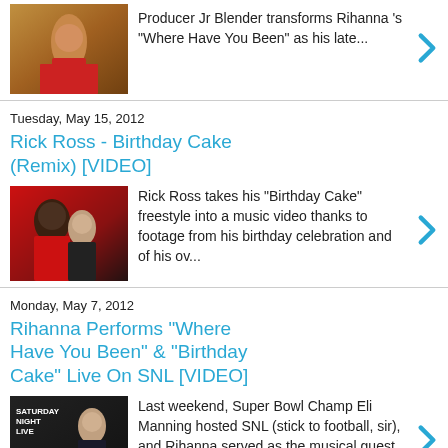[Figure (photo): Thumbnail image of a performer in red pants]
Producer Jr Blender transforms  Rihanna 's "Where Have You Been" as his late...
Tuesday, May 15, 2012
Rick Ross - Birthday Cake (Remix) [VIDEO]
[Figure (photo): Thumbnail image of Rick Ross with a woman]
Rick Ross  takes his "Birthday Cake" freestyle into a music video thanks to footage from his birthday celebration and of his ov...
Monday, May 7, 2012
Rihanna Performs "Where Have You Been" & "Birthday Cake" Live On SNL [VIDEO]
[Figure (photo): Thumbnail image of Rihanna on Saturday Night Live set]
Last weekend, Super Bowl Champ Eli Manning hosted SNL (stick to football, sir), and  Rihanna served as the musical guest. She switched t...